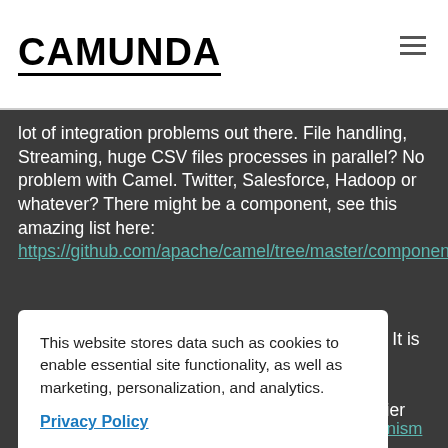CAMUNDA
lot of integration problems out there. File handling, Streaming, huge CSV files processes in parallel? No problem with Camel. Twitter, Salesforce, Hadoop or whatever? There might be a component, see this amazing list here: https://github.com/apache/camel/tree/master/components.
This website stores data such as cookies to enable essential site functionality, as well as marketing, personalization, and analytics.
Privacy Policy
Accept
Deny
x ESB. It is a ... ve easier and ... roblems. The ... Together with ... bphisticated B...
Correlation: We have some Correlation Mechanism